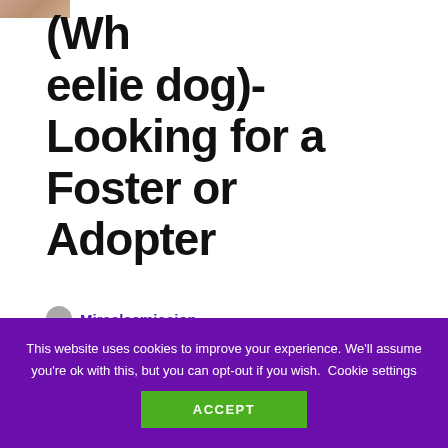[Figure (photo): Partial cropped photo of a dog at top left corner]
(Wheelie dog)- Looking for a Foster or Adopter
Miraclesmission
28/10/2021
This website uses cookies to improve your experience. We'll assume you're ok with this, but you can opt-out if you wish. Cookie settings
ACCEPT